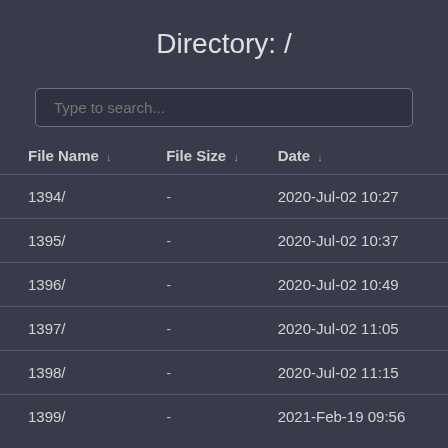Directory: /
| File Name ↓ | File Size ↓ | Date ↓ |
| --- | --- | --- |
| 1394/ | - | 2020-Jul-02 10:27 |
| 1395/ | - | 2020-Jul-02 10:37 |
| 1396/ | - | 2020-Jul-02 10:49 |
| 1397/ | - | 2020-Jul-02 11:05 |
| 1398/ | - | 2020-Jul-02 11:15 |
| 1399/ | - | 2021-Feb-19 09:56 |